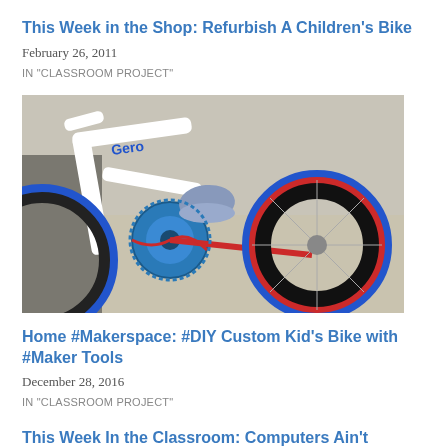This Week in the Shop: Refurbish A Children's Bike
February 26, 2011
IN "CLASSROOM PROJECT"
[Figure (photo): Close-up photograph of a children's bicycle showing white frame, blue and red wheels, blue chain ring, red chain stay, and a child's sneaker in the background on a sandy/concrete surface.]
Home #Makerspace: #DIY Custom Kid's Bike with #Maker Tools
December 28, 2016
IN "CLASSROOM PROJECT"
This Week In the Classroom: Computers Ain't Everything
Took over our conference room to work through some